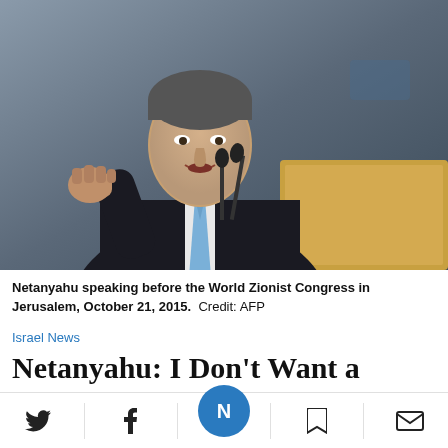[Figure (photo): Netanyahu speaking at a podium with raised fist, wearing dark suit and light blue tie, before a dark background.]
Netanyahu speaking before the World Zionist Congress in Jerusalem, October 21, 2015.  Credit: AFP
Israel News
Netanyahu: I Don't Want a Binational Stat...t We Need to